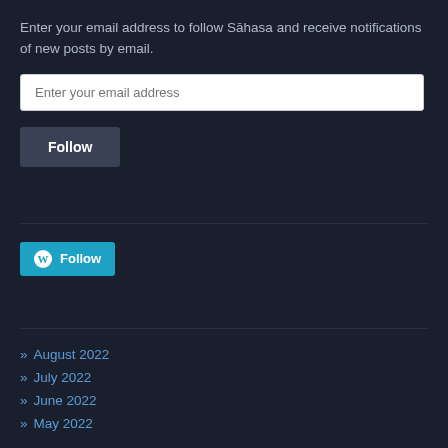Enter your email address to follow Sāhasa and receive notifications of new posts by email.
Enter your email address
Follow
[Figure (logo): WordPress Follow button with WordPress logo icon in blue]
August 2022
July 2022
June 2022
May 2022